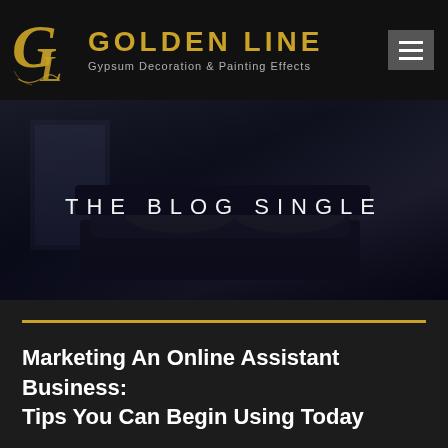GOLDEN LINE — Gypsum Decoration & Painting Effects
[Figure (screenshot): Website hero banner with dark bedroom background and text THE BLOG SINGLE]
Marketing An Online Assistant Business: Tips You Can Begin Using Today